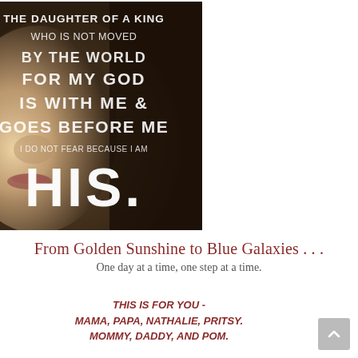[Figure (photo): Close-up photo of a woman's face (profile/side, blurred) overlaid with white text reading: THE DAUGHTER OF A KING WHO IS NOT MOVED BY THE WORLD FOR MY GOD IS WITH ME & GOES BEFORE ME I DO NOT FEAR BECAUSE I AM HIS.]
From Golden Sunshine to Blue Galaxies . . .
One day at a time, one step at a time.
THIS IS FOR YOU - MAMA, PAPA, NATHALIE, PRITSY. MOMMY, DADDY, AND POM.